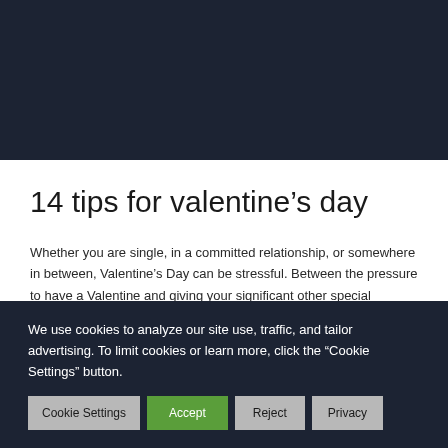[Figure (photo): Dark navy/dark blue background image area at the top of the page]
14 tips for valentine’s day
Whether you are single, in a committed relationship, or somewhere in between, Valentine’s Day can be stressful. Between the pressure to have a Valentine and giving your significant other special treatment, it can be hard to know where to start. But Valentine’s Day can also be a super
We use cookies to analyze our site use, traffic, and tailor advertising. To limit cookies or learn more, click the “Cookie Settings” button.
Cookie Settings
Accept
Reject
Privacy